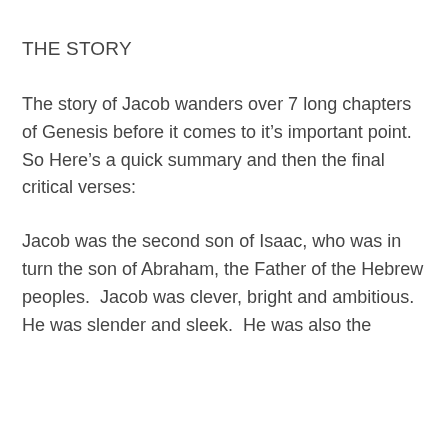THE STORY
The story of Jacob wanders over 7 long chapters of Genesis before it comes to it’s important point. So Here’s a quick summary and then the final critical verses:
Jacob was the second son of Isaac, who was in turn the son of Abraham, the Father of the Hebrew peoples.  Jacob was clever, bright and ambitious. He was slender and sleek.  He was also the